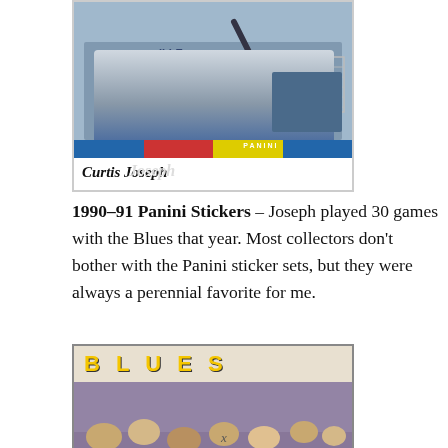[Figure (photo): A hockey card showing Curtis Joseph as a goalie with Panini color stripes and the player name in italic bold text. Card shows goalie in Blues uniform.]
1990-91 Panini Stickers – Joseph played 30 games with the Blues that year. Most collectors don't bother with the Panini sticker sets, but they were always a perennial favorite for me.
[Figure (photo): A Blues hockey card showing the word BLUES in large yellow letters at the top, with a photo of Curtis Joseph in goalie mask in front of the net, with GMC signage visible.]